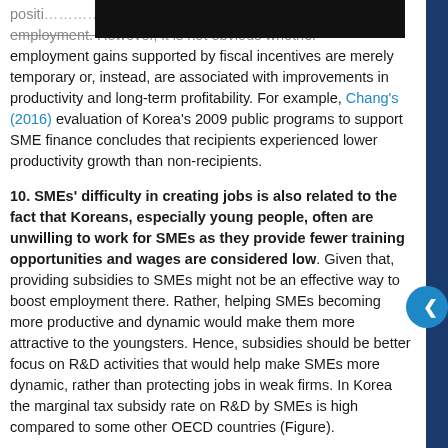position… experience. employment. However, it is not obvious whether employment gains supported by fiscal incentives are merely temporary or, instead, are associated with improvements in productivity and long-term profitability. For example, Chang's (2016) evaluation of Korea's 2009 public programs to support SME finance concludes that recipients experienced lower productivity growth than non-recipients.
10. SMEs' difficulty in creating jobs is also related to the fact that Koreans, especially young people, often are unwilling to work for SMEs as they provide fewer training opportunities and wages are considered low. Given that, providing subsidies to SMEs might not be an effective way to boost employment there. Rather, helping SMEs becoming more productive and dynamic would make them more attractive to the youngsters. Hence, subsidies should be better focus on R&D activities that would help make SMEs more dynamic, rather than protecting jobs in weak firms. In Korea the marginal tax subsidy rate on R&D by SMEs is high compared to some other OECD countries (Figure).